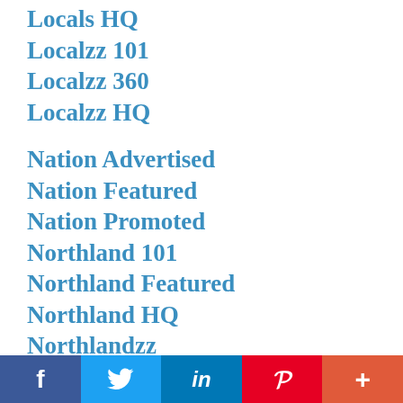Locals HQ
Localzz 101
Localzz 360
Localzz HQ
Nation Advertised
Nation Featured
Nation Promoted
Northland 101
Northland Featured
Northland HQ
Northlandzz
Postingzz
Professionalzz
Productzz
Repairzz
Social share bar: Facebook, Twitter, LinkedIn, Pinterest, More